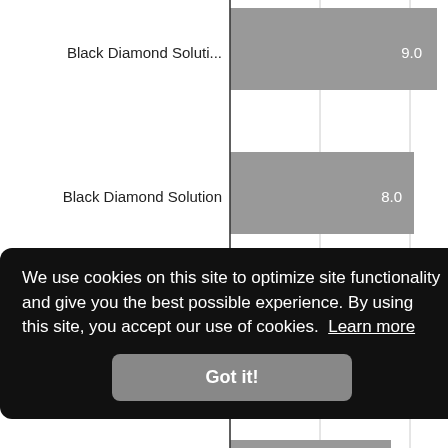[Figure (bar-chart): ]
We use cookies on this site to optimize site functionality and give you the best possible experience. By using this site, you accept our use of cookies.  Learn more
Got it!